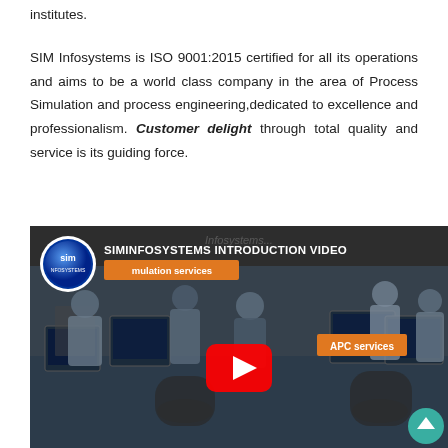institutes.
SIM Infosystems is ISO 9001:2015 certified for all its operations and aims to be a world class company in the area of Process Simulation and process engineering,dedicated to excellence and professionalism. Customer delight through total quality and service is its guiding force.
[Figure (screenshot): YouTube video thumbnail for SIMINFOSYSTEMS INTRODUCTION VIDEO showing an office/lab setting with people working at computers, overlaid with a YouTube play button, SIM Infosystems logo, orange badges reading 'Simulation services' and 'APC services', and a teal scroll-up button in the bottom right corner.]